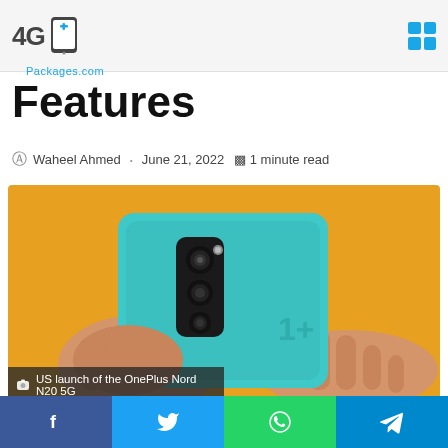4GPackages.com
Features
Waheel Ahmed · June 21, 2022 · 1 minute read
[Figure (photo): Back of a teal/cyan OnePlus Nord N20 5G smartphone held by a person wearing a yellow shirt. The phone's triple camera module and OnePlus logo are visible.]
US launch of the OnePlus Nord N20 5G